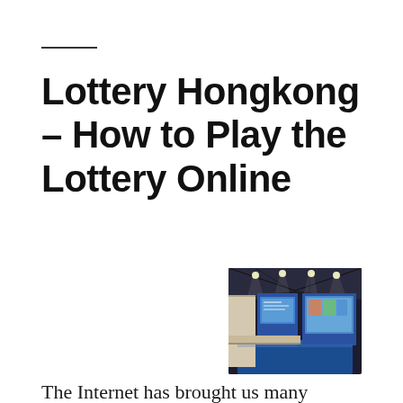Lottery Hongkong – How to Play the Lottery Online
[Figure (photo): Interior of a lottery or retail storefront with blue flooring, illuminated wall displays, and modern ceiling with spotlights]
The Internet has brought us many benefits. We can shop online, check the weather in real time, and look up bus schedules. Lottery Singapore is no exception. You can find a lot